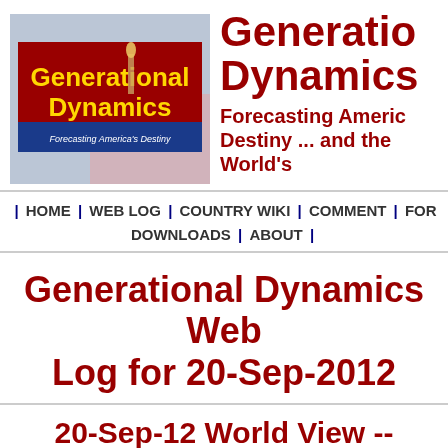[Figure (logo): Generational Dynamics logo image — red banner with yellow text 'Generational Dynamics', blue stripe with 'Forecasting America's Destiny', Statue of Liberty torch and US flag background]
Generational Dynamics — Forecasting America's Destiny ... and the World's
| HOME | WEB LOG | COUNTRY WIKI | COMMENT | FOR DOWNLOADS | ABOUT |
Generational Dynamics Web Log for 20-Sep-2012
20-Sep-12 World View -- France closes embassies